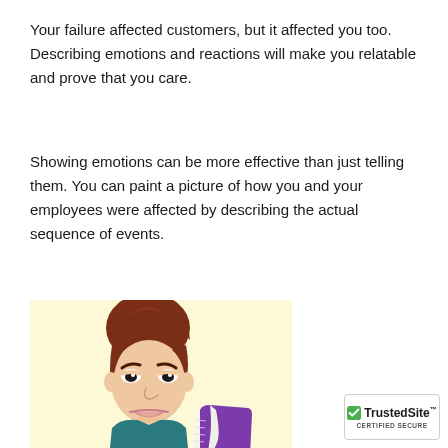Your failure affected customers, but it affected you too. Describing emotions and reactions will make you relatable and prove that you care.
Showing emotions can be more effective than just telling them. You can paint a picture of how you and your employees were affected by describing the actual sequence of events.
[Figure (illustration): Cartoon illustration of a person with short brown hair and a frowning/pouting expression, reading or holding a purple book. The background is pale yellow.]
TrustedSite™ CERTIFIED SECURE